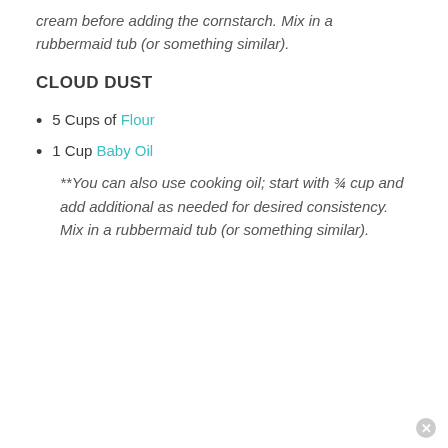cream before adding the cornstarch. Mix in a rubbermaid tub (or something similar).
CLOUD DUST
5 Cups of Flour
1 Cup Baby Oil
**You can also use cooking oil; start with ¾ cup and add additional as needed for desired consistency. Mix in a rubbermaid tub (or something similar).